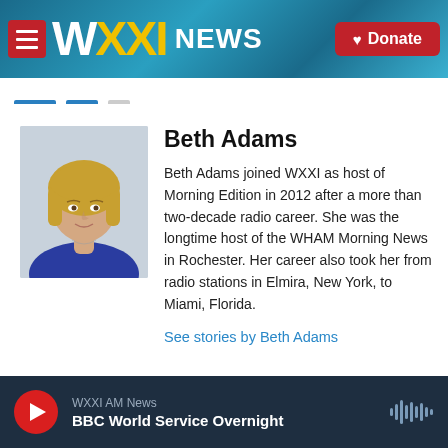[Figure (screenshot): WXXI News website header with logo, navigation, and Donate button]
[Figure (photo): Headshot of Beth Adams, a woman with blonde bob haircut wearing a blue top]
Beth Adams
Beth Adams joined WXXI as host of Morning Edition in 2012 after a more than two-decade radio career. She was the longtime host of the WHAM Morning News in Rochester. Her career also took her from radio stations in Elmira, New York, to Miami, Florida.
See stories by Beth Adams
WXXI AM News | BBC World Service Overnight